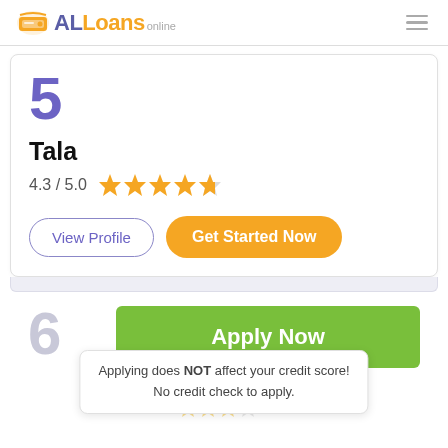ALLoans online
5
Tala
4.3 / 5.0
View Profile
Get Started Now
6
Apply Now
Online L...
4.0 / 5.0
Applying does NOT affect your credit score! No credit check to apply.